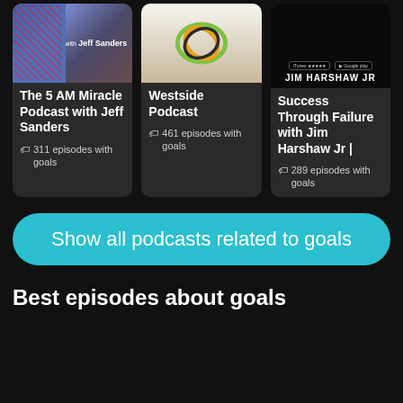[Figure (screenshot): Three podcast cards in a row: The 5 AM Miracle Podcast with Jeff Sanders, Westside Podcast, and Success Through Failure with Jim Harshaw Jr]
The 5 AM Miracle Podcast with Jeff Sanders - 311 episodes with goals
Westside Podcast - 461 episodes with goals
Success Through Failure with Jim Harshaw Jr | - 289 episodes with goals
Show all podcasts related to goals
Best episodes about goals